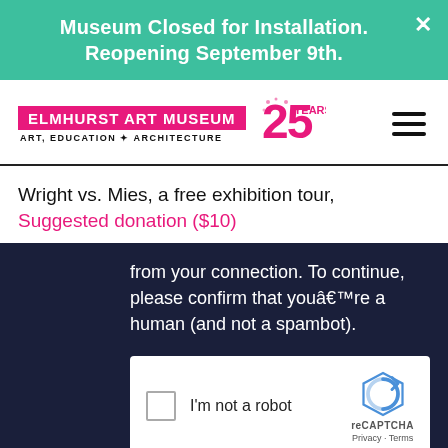Museum Closed for Installation. Reopening September 9th.
[Figure (logo): Elmhurst Art Museum logo with text 'ELMHURST ART MUSEUM' in pink box, 'ART, EDUCATION & ARCHITECTURE' below, and 25 YEARS! badge in pink]
Wright vs. Mies, a free exhibition tour, Suggested donation ($10)
from your connection. To continue, please confirm that youâ€™re a human (and not a spambot).
[Figure (screenshot): reCAPTCHA widget with checkbox labeled 'I'm not a robot' and reCAPTCHA logo with Privacy and Terms links]